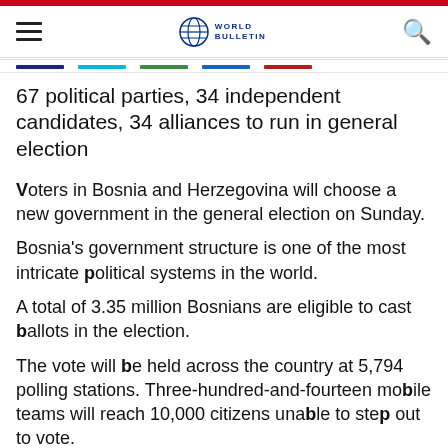World Bulletin
67 political parties, 34 independent candidates, 34 alliances to run in general election
Voters in Bosnia and Herzegovina will choose a new government in the general election on Sunday.
Bosnia's government structure is one of the most intricate political systems in the world.
A total of 3.35 million Bosnians are eligible to cast ballots in the election.
The vote will be held across the country at 5,794 polling stations. Three-hundred-and-fourteen mobile teams will reach 10,000 citizens unable to step out to vote.